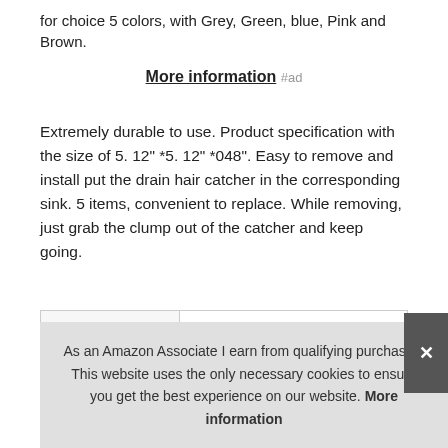for choice 5 colors, with Grey, Green, blue, Pink and Brown.
More information #ad
Extremely durable to use. Product specification with the size of 5. 12" *5. 12" *048". Easy to remove and install put the drain hair catcher in the corresponding sink. 5 items, convenient to replace. While removing, just grab the clump out of the catcher and keep going.
|  |  |
| --- | --- |
| Brand | Gotega #ad |
| Manufacturer | Gotaga #ad |
As an Amazon Associate I earn from qualifying purchases. This website uses the only necessary cookies to ensure you get the best experience on our website. More information